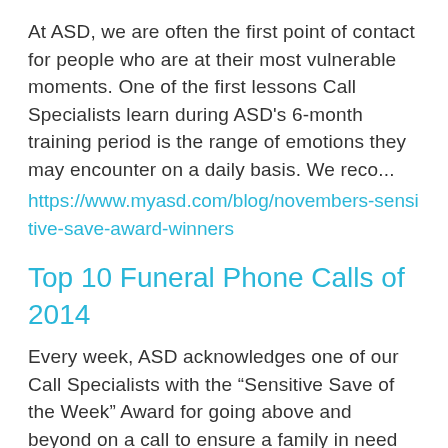At ASD, we are often the first point of contact for people who are at their most vulnerable moments. One of the first lessons Call Specialists learn during ASD's 6-month training period is the range of emotions they may encounter on a daily basis. We reco...
https://www.myasd.com/blog/novembers-sensitive-save-award-winners
Top 10 Funeral Phone Calls of 2014
Every week, ASD acknowledges one of our Call Specialists with the “Sensitive Save of the Week” Award for going above and beyond on a call to ensure a family in need can connect with a funeral director. To kick off the new year, we've taken a look back at ...
https://www.myasd.com/blog/top-10-funeral-phone-calls-2014